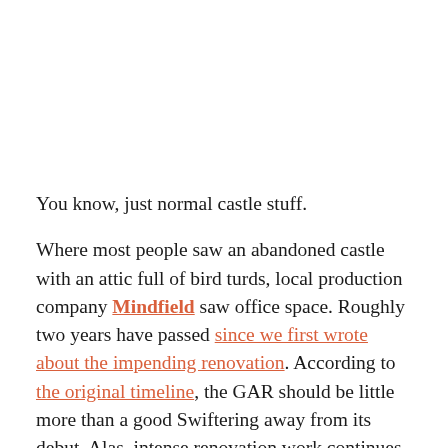You know, just normal castle stuff.
Where most people saw an abandoned castle with an attic full of bird turds, local production company Mindfield saw office space. Roughly two years have passed since we first wrote about the impending renovation. According to the original timeline, the GAR should be little more than a good Swiftering away from its debut. Alas, intense renovation work continues, with an updated goal of opening this fall.